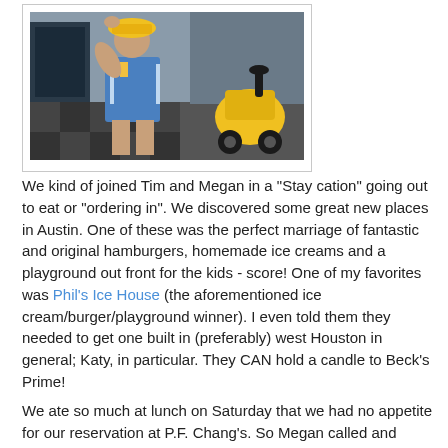[Figure (photo): A young child wearing a blue sports jersey and a yellow hard hat/construction hat, holding the hat with one hand, standing near colorful toys including a yellow ride-on toy. Indoor setting with checkered floor mat.]
We kind of joined Tim and Megan in a "Stay cation" going out to eat or "ordering in". We discovered some great new places in Austin. One of these was the perfect marriage of fantastic and original hamburgers, homemade ice creams and a playground out front for the kids - score! One of my favorites was Phil's Ice House (the aforementioned ice cream/burger/playground winner). I even told them they needed to get one built in (preferably) west Houston in general; Katy, in particular. They CAN hold a candle to Beck's Prime!
We ate so much at lunch on Saturday that we had no appetite for our reservation at P.F. Chang's. So Megan called and rescheduled for Monday at lunch and we got Pei Wei